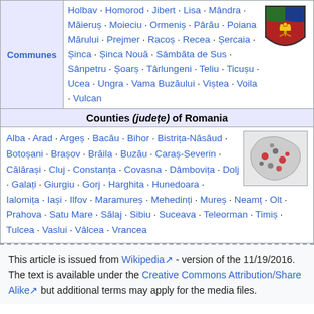| Communes |  |
| --- | --- |
| Communes | Holbav · Homorod · Jibert · Lisa · Mândra · Măieruș · Moieciu · Ormeniș · Pârău · Poiana Mărului · Prejmer · Racoș · Recea · Șercaia · Șinca · Șinca Nouă · Sâmbăta de Sus · Sânpetru · Șoarș · Târlungeni · Teliu · Ticușu · Ucea · Ungra · Vama Buzăului · Viștea · Voila · Vulcan |
Counties (județe) of Romania
Alba · Arad · Argeș · Bacău · Bihor · Bistrița-Năsăud · Botoșani · Brașov · Brăila · Buzău · Caraș-Severin · Călărași · Cluj · Constanța · Covasna · Dâmbovița · Dolj · Galați · Giurgiu · Gorj · Harghita · Hunedoara · Ialomița · Iași · Ilfov · Maramureș · Mehedinți · Mureș · Neamț · Olt · Prahova · Satu Mare · Sălaj · Sibiu · Suceava · Teleorman · Timiș · Tulcea · Vaslui · Vâlcea · Vrancea
[Figure (illustration): Romania counties map with colored regions]
This article is issued from Wikipedia - version of the 11/19/2016. The text is available under the Creative Commons Attribution/Share Alike but additional terms may apply for the media files.